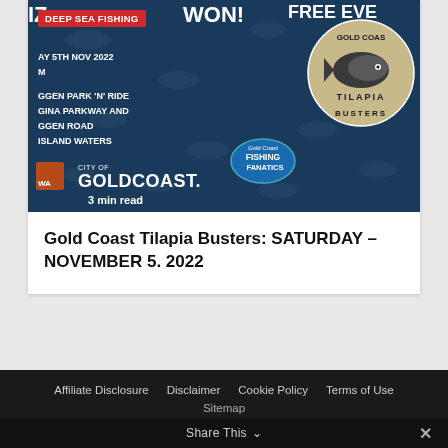[Figure (photo): Gold Coast Tilapia Busters event promotional image with dark blue fishing background, DEEP SEA FISHING badge in red, text showing date SAY 5TH NOV 2022, location details GGEN PARK N RIDE / GINA PARKWAY AND GGEN ROAD / ISLAND WATERS, circular Gold Coast Tilapia Busters logo on right, City of Gold Coast and Gold Coast Fishing Fanatics logos at bottom, 3 min read label]
Gold Coast Tilapia Busters: SATURDAY – NOVEMBER 5. 2022
Affiliate Disclosure   Disclaimer   Cookie Policy   Terms of Use   Sitemap   Share This ∨  ✕